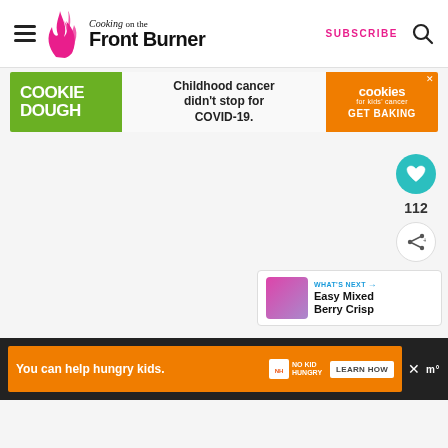Cooking on the Front Burner — SUBSCRIBE
[Figure (screenshot): Advertisement banner: green left panel with COOKIE DOUGH text, center panel with 'Childhood cancer didn't stop for COVID-19.', orange right panel with Cookies for Kids' Cancer GET BAKING logo and close button]
[Figure (infographic): Social sharing sidebar with teal heart button, count of 112, and a share button]
[Figure (screenshot): What's Next panel showing a thumbnail image and title 'Easy Mixed Berry Crisp']
[Figure (screenshot): Bottom orange advertisement bar: 'You can help hungry kids. No Kid Hungry. LEARN HOW' with close button and Mediavine logo]